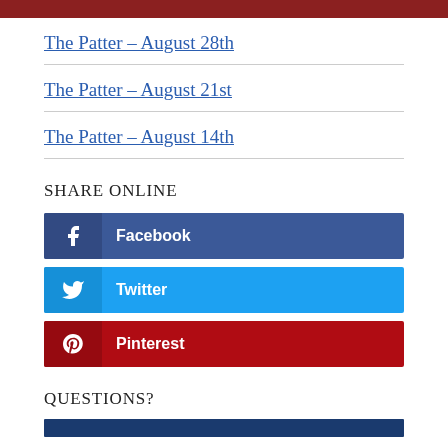The Patter – August 28th
The Patter – August 21st
The Patter – August 14th
SHARE ONLINE
[Figure (infographic): Social share buttons for Facebook, Twitter, and Pinterest]
QUESTIONS?
[Figure (other): Dark blue bar at bottom]